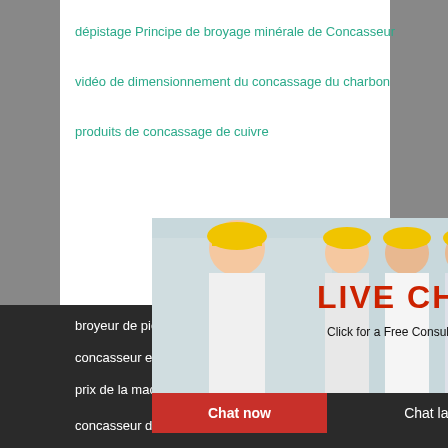dépistage Principe de broyage minérale de Concasseur
vidéo de dimensionnement du concassage du charbon
produits de concassage de cuivre
[Figure (screenshot): Live chat popup with workers in hard hats, LIVE CHAT title in red, Click for a Free Consultation, Chat now and Chat later buttons]
[Figure (infographic): Right sidebar with 24/7 hour online orange header, customer service agent photo, Click to chat button, Enquiry section with email superbrian707@gmail.com]
broyeur de pierres importance
concasseur et broyage prix d usine en malais...
prix de la machine mobile de concasseur de p...
concasseur de pierre equipements marteaux